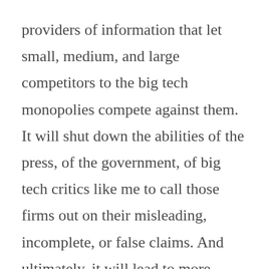providers of information that let small, medium, and large competitors to the big tech monopolies compete against them. It will shut down the abilities of the press, of the government, of big tech critics like me to call those firms out on their misleading, incomplete, or false claims. And ultimately, it will lead to more power and wealth concentrated in the hands of the few vs. the democratization of data we all should support.

I hope Avast will reconsider its stance. I hope